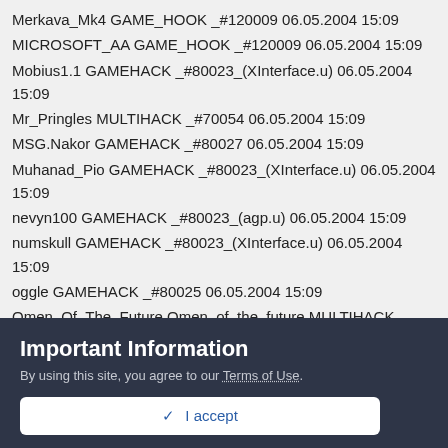Merkava_Mk4 GAME_HOOK _#120009 06.05.2004 15:09
MICROSOFT_AA GAME_HOOK _#120009 06.05.2004 15:09
Mobius1.1 GAMEHACK _#80023_(XInterface.u) 06.05.2004 15:09
Mr_Pringles MULTIHACK _#70054 06.05.2004 15:09
MSG.Nakor GAMEHACK _#80027 06.05.2004 15:09
Muhanad_Pio GAMEHACK _#80023_(XInterface.u) 06.05.2004 15:09
nevyn100 GAMEHACK _#80023_(agp.u) 06.05.2004 15:09
numskull GAMEHACK _#80023_(XInterface.u) 06.05.2004 15:09
oggle GAMEHACK _#80025 06.05.2004 15:09
Omen_Of_The_Future Omen_of_the_future MULTIHACK _#70051 06.05.2004 15:09
pentene GAMEHACK _#80023_(XInterface.u) 06.05.2004 15:09
phatboys1 GAMEHACK _#80023_(XInterface.u) 06.05.2004 15:09
Pherexia GAME_HOOK _#120009 06.05.2004 15:09
piequals3 GAMEHACK _#80023_(XInterface.u) 06.05.2004 15:09
Important Information
By using this site, you agree to our Terms of Use.
✓ I accept